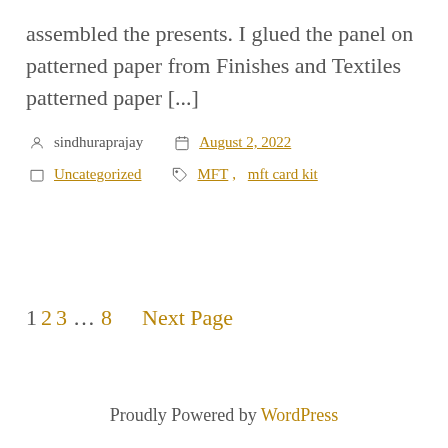assembled the presents. I glued the panel on patterned paper from Finishes and Textiles patterned paper [...]
sindhuraprajay  August 2, 2022  Uncategorized  MFT, mft card kit
1 2 3 … 8  Next Page
Proudly Powered by WordPress